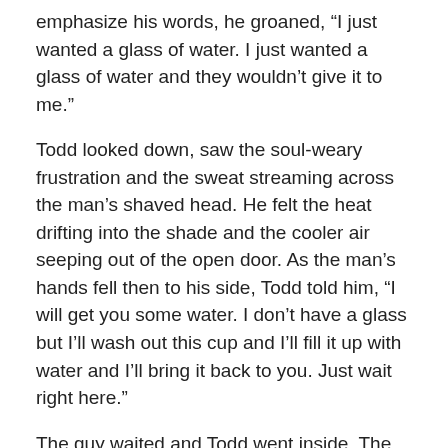emphasize his words, he groaned, “I just wanted a glass of water. I just wanted a glass of water and they wouldn’t give it to me.”
Todd looked down, saw the soul-weary frustration and the sweat streaming across the man’s shaved head. He felt the heat drifting into the shade and the cooler air seeping out of the open door. As the man’s hands fell then to his side, Todd told him, “I will get you some water. I don’t have a glass but I’ll wash out this cup and I’ll fill it up with water and I’ll bring it back to you. Just wait right here.”
The guy waited and Todd went inside. The other two workers traded looks with each other and may have wondered what they’d do if the guy decided he wasn’t going to wait. They didn’t have to find out.
Todd came back with the cup, filled with fresh water and